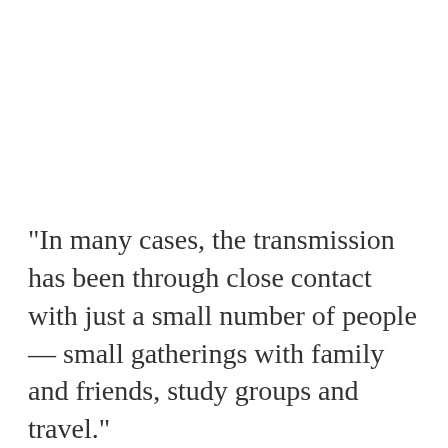“In many cases, the transmission has been through close contact with just a small number of people — small gatherings with family and friends, study groups and travel.”